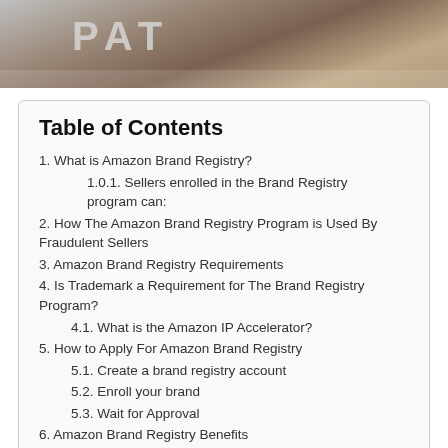[Figure (photo): Partial photo of a patent or sign plaque on a wooden surface, showing letters 'PAT...' in gray metallic style]
Table of Contents
1. What is Amazon Brand Registry?
1.0.1. Sellers enrolled in the Brand Registry program can:
2. How The Amazon Brand Registry Program is Used By Fraudulent Sellers
3. Amazon Brand Registry Requirements
4. Is Trademark a Requirement for The Brand Registry Program?
4.1. What is the Amazon IP Accelerator?
5. How to Apply For Amazon Brand Registry
5.1. Create a brand registry account
5.2. Enroll your brand
5.3. Wait for Approval
6. Amazon Brand Registry Benefits